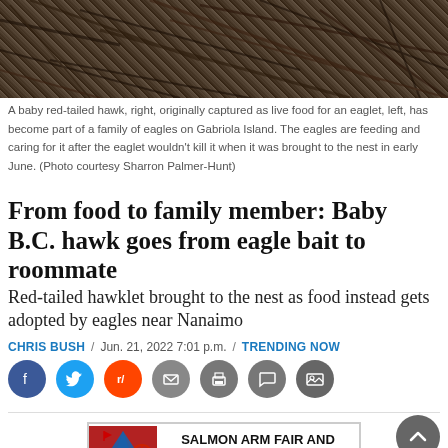[Figure (photo): Close-up photo of tangled sticks and branches forming an eagle nest, brown and dark tones]
A baby red-tailed hawk, right, originally captured as live food for an eaglet, left, has become part of a family of eagles on Gabriola Island. The eagles are feeding and caring for it after the eaglet wouldn't kill it when it was brought to the nest in early June. (Photo courtesy Sharron Palmer-Hunt)
From food to family member: Baby B.C. hawk goes from eagle bait to roommate
Red-tailed hawklet brought to the nest as food instead gets adopted by eagles near Nanaimo
CHRIS BUSH / Jun. 21, 2022 7:01 p.m. / TRENDING NOW
[Figure (infographic): Social media share buttons: Facebook, Twitter, Reddit, Email, Print, Comment, Photo gallery]
[Figure (illustration): Salmon Arm Fair and Parade advertisement. September 9 - 11, 2022]